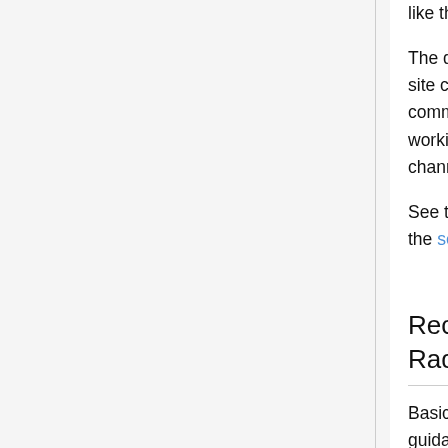like the UHF bands do.
The default channels / frequencies for most job site / contractor / construction site crews will vary. Many crews use FRS, MURS or CB for on-site communications, especially if multiple contractors and subcontractors are working together on a large site. The default out of the box factory UHF channels are also often heavily used.
See the factory portable radio frequencies and available frequencies listed in the section below.
Recommended Common Itinerant On-Site Business Radio Frequencies Tones Codes List
Basically the opposite of the commonly used tones/codes list - intended as guidance for somebody programming radios for a work crew, special event, radio rental, custom